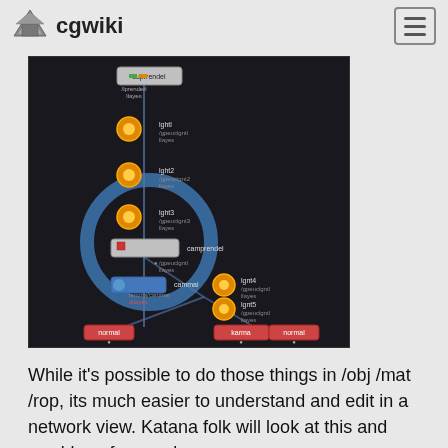cgwiki
[Figure (screenshot): A dark-themed node graph / network view in a 3D application (likely Houdini or Katana), showing interconnected nodes including lights, camera, and render output nodes connected by blue lines. Several nodes have orange/yellow circular icons. A large blue circle highlights a central node group.]
While it's possible to do those things in /obj /mat /rop, its much easier to understand and edit in a network view. Katana folk will look at this and say 'dur, of course'.